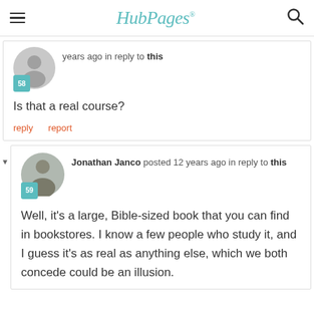HubPages
years ago in reply to this
Is that a real course?
reply   report
Jonathan Janco posted 12 years ago in reply to this
Well, it's a large, Bible-sized book that you can find in bookstores. I know a few people who study it, and I guess it's as real as anything else, which we both concede could be an illusion.